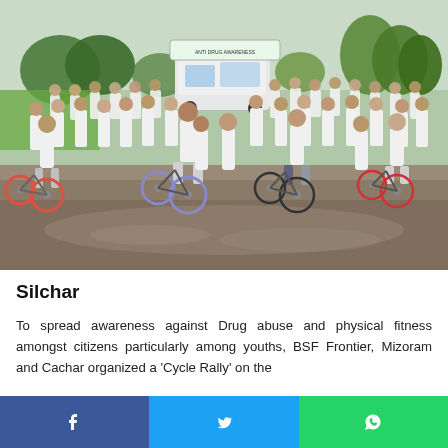[Figure (photo): A large group of people dressed in white shirts on bicycles and on foot, gathered outdoors on a wet road, with trees and green landscape in the background. A white van and a banner are visible in the back. The event appears to be a cycling rally or awareness event.]
Silchar
To spread awareness against Drug abuse and physical fitness amongst citizens particularly among youths, BSF Frontier, Mizoram and Cachar organized a 'Cycle Rally' on the...